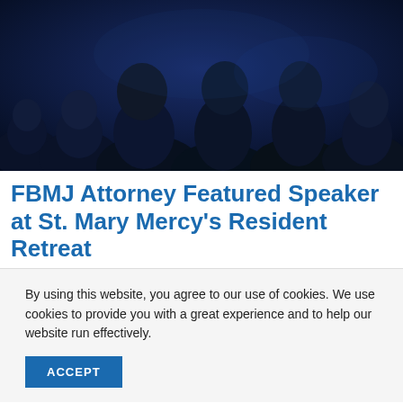[Figure (photo): Dark silhouettes of people from behind against a dark blue background, suggesting an audience or crowd at an event.]
FBMJ Attorney Featured Speaker at St. Mary Mercy's Resident Retreat
On June 23, 2021, FBMJ attorney, Mitchell C. Jackson, presented “Defending Your Care and Keeping Lawyers Out of Your Hair” to Emergency Medicine residents as part of St.
By using this website, you agree to our use of cookies. We use cookies to provide you with a great experience and to help our website run effectively.
ACCEPT